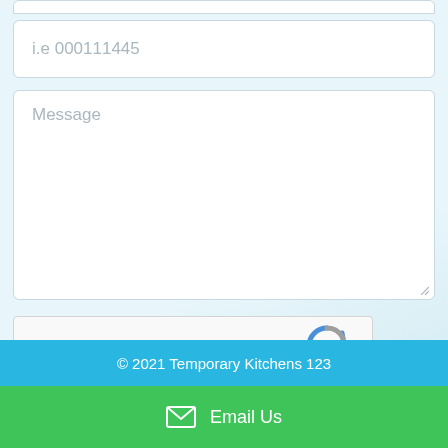[Figure (screenshot): Partially visible input field at top of form (cropped)]
i.e 000111445
Message
[Figure (screenshot): reCAPTCHA widget with checkbox labeled 'I'm not a robot' and reCAPTCHA logo with Privacy and Terms links]
Send Now
© 2021 Temporary Kitchens 123
Email Us